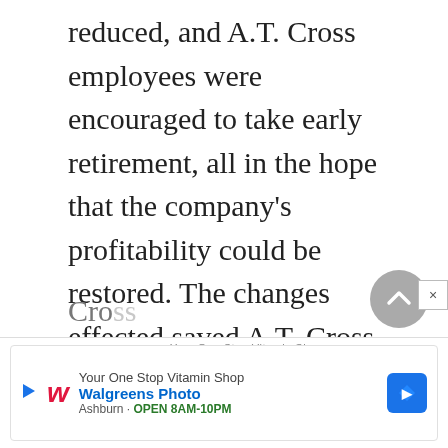reduced, and A.T. Cross employees were encouraged to take early retirement, all in the hope that the company's profitability could be restored. The changes effected saved A.T. Cross roughly $5 million annually, giving it a leaner look for the years ahead. Further changes were soon to follow, including the divestiture of its Mark Cross subsidiary in 1993. Sold 10 years after it was acquired, Mark Cro... Co...